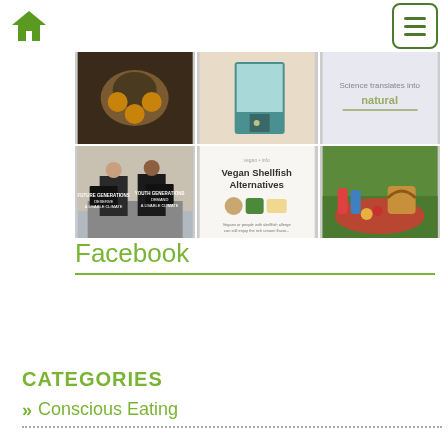Home icon and menu button
[Figure (photo): Grid of 6 thumbnail images: top row has a blue decorative object, a teal door/cabinet, and a text panel reading 'Science translates into natural'; bottom row has two people holding protest signs about demanding a livable climate, a blog post preview titled 'Vegan Shellfish Alternatives', and a picnic basket with food on grass.]
Facebook
CATEGORIES
Conscious Eating